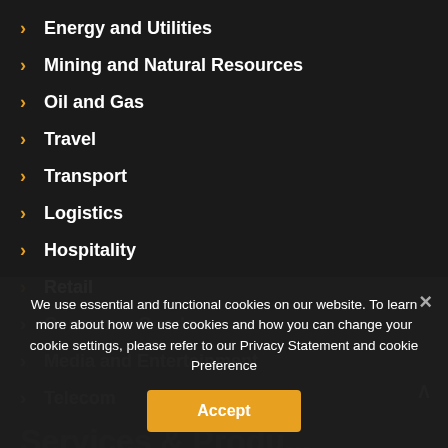> Energy and Utilities
> Mining and Natural Resources
> Oil and Gas
> Travel
> Transport
> Logistics
> Hospitality
> Retail
> Consumer Goods
> Media and Entertainment
> Telecom
Services & Products
We use essential and functional cookies on our website. To learn more about how we use cookies and how you can change your cookie settings, please refer to our Privacy Statement and cookie Preference